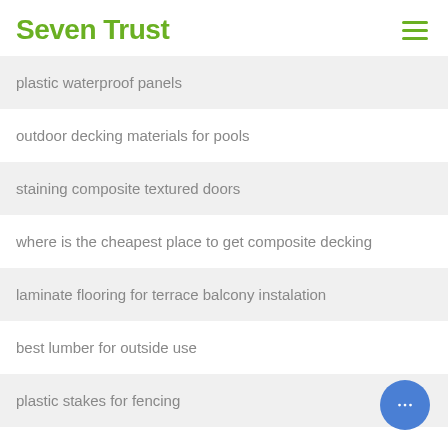Seven Trust
plastic waterproof panels
outdoor decking materials for pools
staining composite textured doors
where is the cheapest place to get composite decking
laminate flooring for terrace balcony instalation
best lumber for outside use
plastic stakes for fencing
playground slides south africa